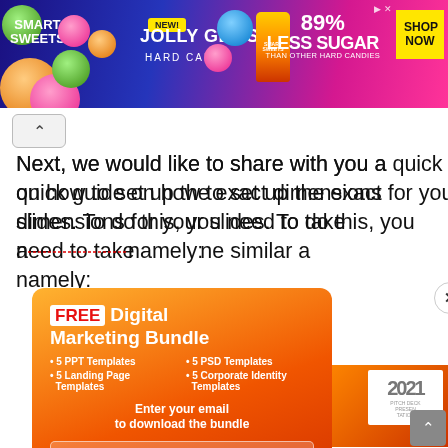[Figure (illustration): Smart Sweets Jolly Gems Hard Candy banner advertisement showing candy graphics, '89% Less Sugar than other hard candies' text, and a yellow 'Shop Now' button]
Next, we would like to share with you a quick guide on how to set up the exact dimensions for your slides. To do this, you need to take some similar a... namely:
[Figure (infographic): FREE Digital Marketing Bundle popup overlay with orange/red gradient background. Lists: 5 PPT Templates, 5 PSD Templates, 5 Landing Page Templates, 5 Corporate Identity Templates. Contains 'Enter your email to download the bundle' CTA with email input field and 'Get Bundle' button. Has a close (X) button in top right.]